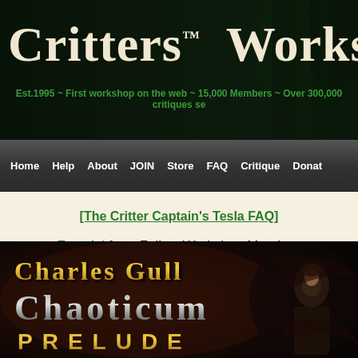Critters™ Workshop — Est.1995 ~ First workshop on the web ~ 15,000 Members ~ Over 300,000 critiques se
[Figure (screenshot): Navigation bar with links: Home, Help, About, JOIN, Store, FAQ, Critique, Donat]
[The Critter Captain's Tesla FAQ]
Free Ad for a Fellow Workshop Member:
[Figure (illustration): Book advertisement banner for 'Charles Gull — Chaoticum Prelude' showing a fantasy warrior figure against a dark background with gold and silver stylized text]